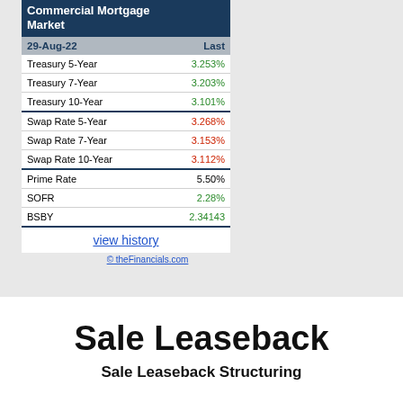| Commercial Mortgage Market |  |
| --- | --- |
| 29-Aug-22 | Last |
| Treasury 5-Year | 3.253% |
| Treasury 7-Year | 3.203% |
| Treasury 10-Year | 3.101% |
| Swap Rate 5-Year | 3.268% |
| Swap Rate 7-Year | 3.153% |
| Swap Rate 10-Year | 3.112% |
| Prime Rate | 5.50% |
| SOFR | 2.28% |
| BSBY | 2.34143 |
view history
© theFinancials.com
Sale Leaseback
Sale Leaseback Structuring